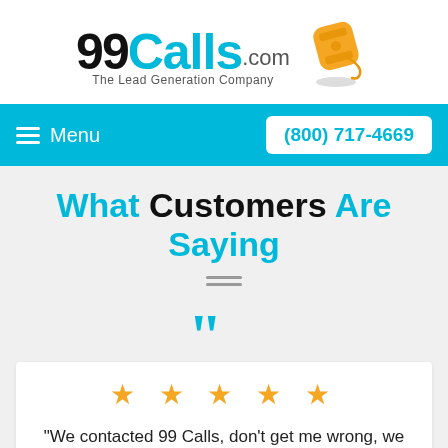[Figure (logo): 99Calls.com logo with telephone icon and tagline 'The Lead Generation Company']
Menu | (800) 717-4669
What Customers Are Saying
[Figure (infographic): Large cyan quotation mark icon]
★ ★ ★ ★ ★
"We contacted 99 Calls, don't get me wrong, we were afraid of doing business with 99 Calls because of